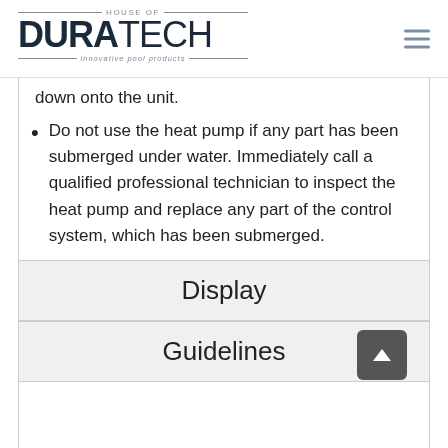[Figure (logo): House of DuraTech - innovative pool products logo with hamburger menu icon]
down onto the unit.
Do not use the heat pump if any part has been submerged under water. Immediately call a qualified professional technician to inspect the heat pump and replace any part of the control system, which has been submerged.
Display
Guidelines